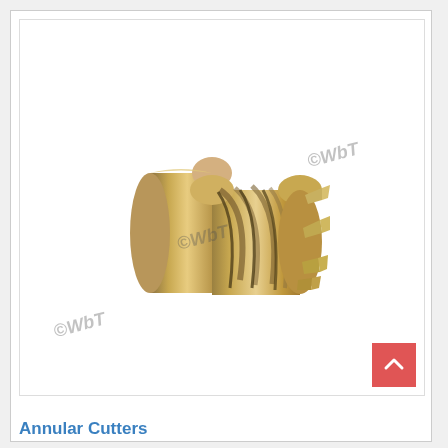[Figure (photo): A gold/bronze colored annular cutter (hole cutter) tool with spiral flutes and cutting teeth visible on the end face. The tool has a cylindrical shank. Multiple '©WbT' watermarks are overlaid on the white background of the product photo.]
Annular Cutters